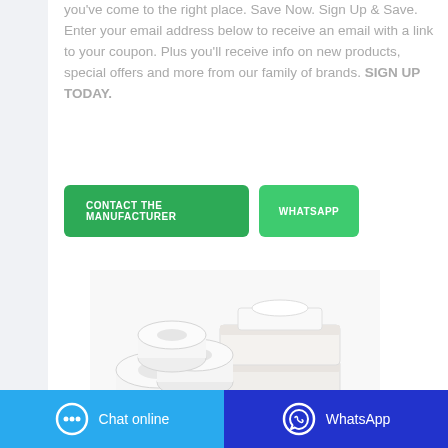you've come to the right place. Save Now. Sign Up & Save. Enter your email address below to receive an email with a link to your coupon. Plus you'll receive info on new products, special offers and more from our family of brands. SIGN UP TODAY.
[Figure (other): Two green buttons side by side: 'CONTACT THE MANUFACTURER' and 'WHATSAPP']
[Figure (photo): Stacked white toilet paper rolls and tissue boxes on a white background]
Chat online   WhatsApp